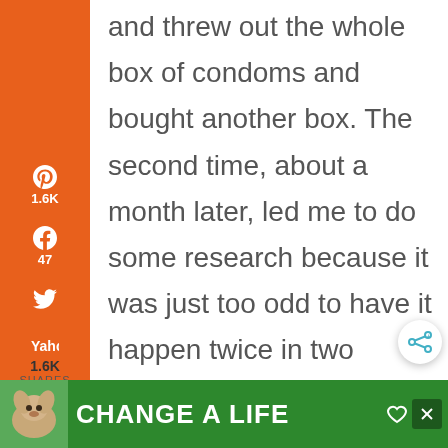and threw out the whole box of condoms and bought another box. The second time, about a month later, led me to do some research because it was just too odd to have it happen twice in two months with different
[Figure (screenshot): Social media share sidebar with Pinterest (1.6K), Facebook (47), Twitter, Yahoo, Email, Print icons on orange background; total 1.6K shares label below]
[Figure (screenshot): Share button floating on right side]
[Figure (screenshot): Advertisement banner at bottom: green background with dog image and CHANGE A LIFE text]